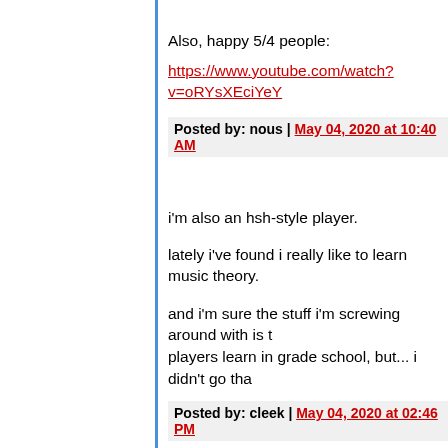Also, happy 5/4 people:
https://www.youtube.com/watch?v=oRYsXEciYeY
Posted by: nous | May 04, 2020 at 10:40 AM
i'm also an hsh-style player.

lately i've found i really like to learn music theory.

and i'm sure the stuff i'm screwing around with is t... players learn in grade school, but... i didn't go tha...
Posted by: cleek | May 04, 2020 at 02:46 PM
Good thing I don't gamble on such things, I was s... version of "Take Five".

For those not familiar with The Turtles song "Grim... are 5/4, with transition to (I believe) 6/8 for the ch...
Posted by: Priest | May 04, 2020 at 03:52 PM